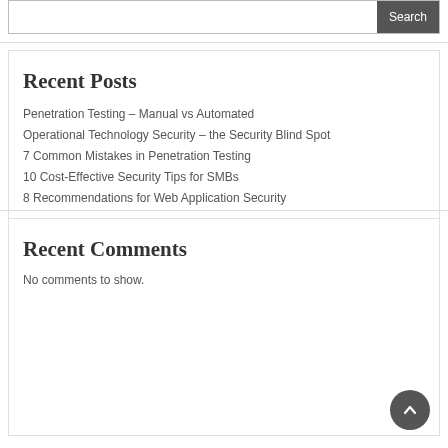Recent Posts
Penetration Testing – Manual vs Automated
Operational Technology Security – the Security Blind Spot
7 Common Mistakes in Penetration Testing
10 Cost-Effective Security Tips for SMBs
8 Recommendations for Web Application Security
Recent Comments
No comments to show.